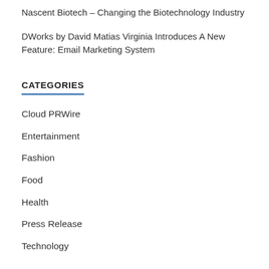Nascent Biotech – Changing the Biotechnology Industry
DWorks by David Matias Virginia Introduces A New Feature: Email Marketing System
CATEGORIES
Cloud PRWire
Entertainment
Fashion
Food
Health
Press Release
Technology